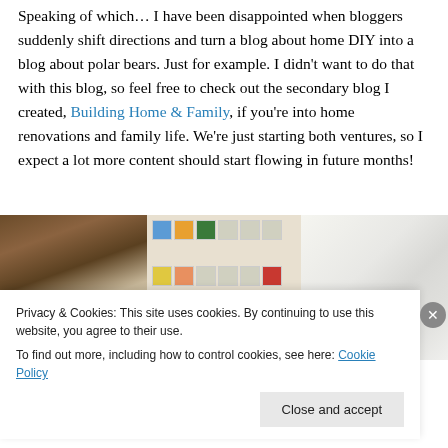Speaking of which… I have been disappointed when bloggers suddenly shift directions and turn a blog about home DIY into a blog about polar bears. Just for example. I didn't want to do that with this blog, so feel free to check out the secondary blog I created, Building Home & Family, if you're into home renovations and family life. We're just starting both ventures, so I expect a lot more content should start flowing in future months!
[Figure (photo): Three side-by-side photos: a wooden cabinet/drawer with patterned wallpaper, a colorful geometric tile pattern with blue/orange/green/yellow/red squares, and white tiles or papers arranged together.]
Privacy & Cookies: This site uses cookies. By continuing to use this website, you agree to their use. To find out more, including how to control cookies, see here: Cookie Policy
Close and accept